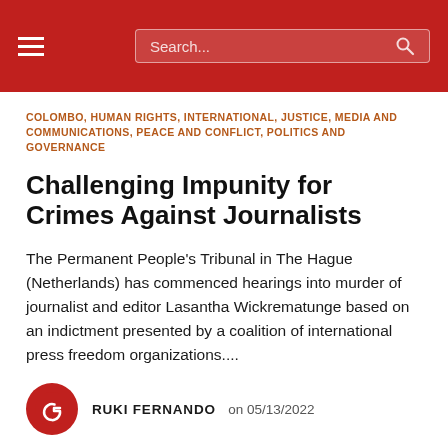Search...
COLOMBO, HUMAN RIGHTS, INTERNATIONAL, JUSTICE, MEDIA AND COMMUNICATIONS, PEACE AND CONFLICT, POLITICS AND GOVERNANCE
Challenging Impunity for Crimes Against Journalists
The Permanent People's Tribunal in The Hague (Netherlands) has commenced hearings into murder of journalist and editor Lasantha Wickrematunge based on an indictment presented by a coalition of international press freedom organizations....
RUKI FERNANDO on 05/13/2022